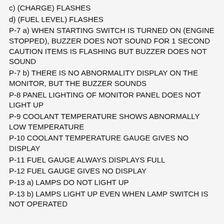c) (CHARGE) FLASHES
d) (FUEL LEVEL) FLASHES
P-7 a) WHEN STARTING SWITCH IS TURNED ON (ENGINE STOPPED), BUZZER DOES NOT SOUND FOR 1 SECOND CAUTION ITEMS IS FLASHING BUT BUZZER DOES NOT SOUND
P-7 b) THERE IS NO ABNORMALITY DISPLAY ON THE MONITOR, BUT THE BUZZER SOUNDS
P-8 PANEL LIGHTING OF MONITOR PANEL DOES NOT LIGHT UP
P-9 COOLANT TEMPERATURE SHOWS ABNORMALLY LOW TEMPERATURE
P-10 COOLANT TEMPERATURE GAUGE GIVES NO DISPLAY
P-11 FUEL GAUGE ALWAYS DISPLAYS FULL
P-12 FUEL GAUGE GIVES NO DISPLAY
P-13 a) LAMPS DO NOT LIGHT UP
P-13 b) LAMPS LIGHT UP EVEN WHEN LAMP SWITCH IS NOT OPERATED